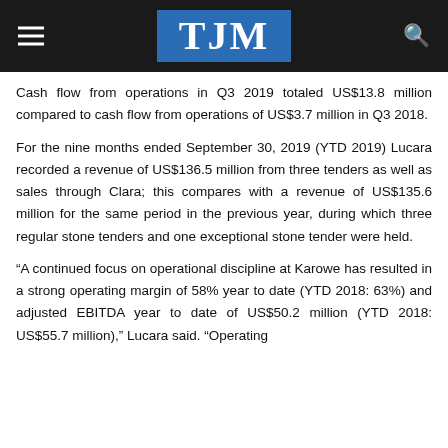TJM
Cash flow from operations in Q3 2019 totaled US$13.8 million compared to cash flow from operations of US$3.7 million in Q3 2018.
For the nine months ended September 30, 2019 (YTD 2019) Lucara recorded a revenue of US$136.5 million from three tenders as well as sales through Clara; this compares with a revenue of US$135.6 million for the same period in the previous year, during which three regular stone tenders and one exceptional stone tender were held.
“A continued focus on operational discipline at Karowe has resulted in a strong operating margin of 58% year to date (YTD 2018: 63%) and adjusted EBITDA year to date of US$50.2 million (YTD 2018: US$55.7 million),” Lucara said. “Operating